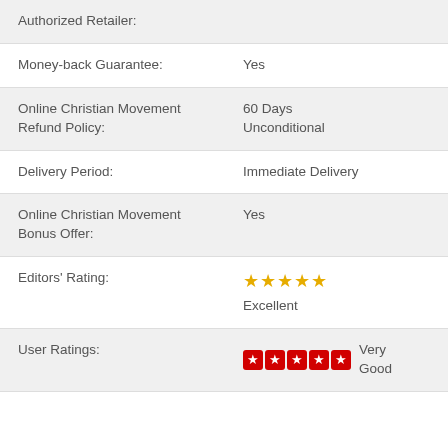| Field | Value |
| --- | --- |
| Authorized Retailer: |  |
| Money-back Guarantee: | Yes |
| Online Christian Movement Refund Policy: | 60 Days Unconditional |
| Delivery Period: | Immediate Delivery |
| Online Christian Movement Bonus Offer: | Yes |
| Editors' Rating: | ★★★★★ Excellent |
| User Ratings: | ★★★★★ Very Good |